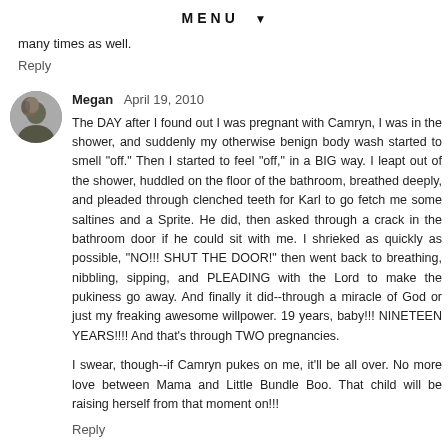MENU ▼
many times as well.
Reply
Megan  April 19, 2010
The DAY after I found out I was pregnant with Camryn, I was in the shower, and suddenly my otherwise benign body wash started to smell "off." Then I started to feel "off," in a BIG way. I leapt out of the shower, huddled on the floor of the bathroom, breathed deeply, and pleaded through clenched teeth for Karl to go fetch me some saltines and a Sprite. He did, then asked through a crack in the bathroom door if he could sit with me. I shrieked as quickly as possible, "NO!!! SHUT THE DOOR!" then went back to breathing, nibbling, sipping, and PLEADING with the Lord to make the pukiness go away. And finally it did--through a miracle of God or just my freaking awesome willpower. 19 years, baby!!! NINETEEN YEARS!!!! And that's through TWO pregnancies.
I swear, though--if Camryn pukes on me, it'll be all over. No more love between Mama and Little Bundle Boo. That child will be raising herself from that moment on!!!
Reply